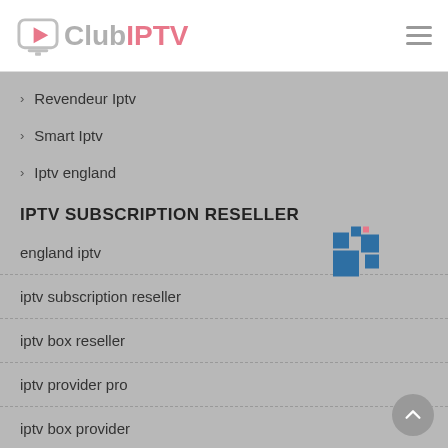Club IPTV
Revendeur Iptv
Smart Iptv
Iptv england
IPTV SUBSCRIPTION RESELLER
england iptv
iptv subscription reseller
iptv box reseller
iptv provider pro
iptv box provider